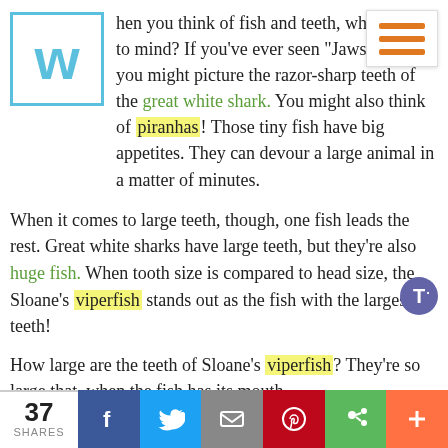[Figure (logo): W logo in blue with square border]
hen you think of fish and teeth, what comes to mind? If you've ever seen "Jaws," then you might picture the razor-sharp teeth of the great white shark. You might also think of piranhas! Those tiny fish have big appetites. They can devour a large animal in a matter of minutes.
When it comes to large teeth, though, one fish leads the rest. Great white sharks have large teeth, but they're also huge fish. When tooth size is compared to head size, the Sloane's viperfish stands out as the fish with the largest teeth!
How large are the teeth of Sloane's viperfish? They're so large that, when the fish has its mouth
37 SHARES | Facebook | Twitter | Email | Pinterest | Google+ | +